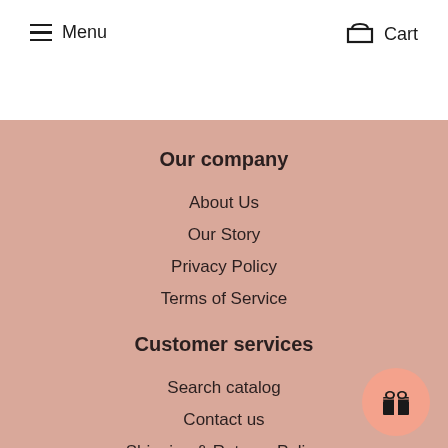Menu  Cart
Our company
About Us
Our Story
Privacy Policy
Terms of Service
Customer services
Search catalog
Contact us
Shipping & Returns Policy
Customer Reviews